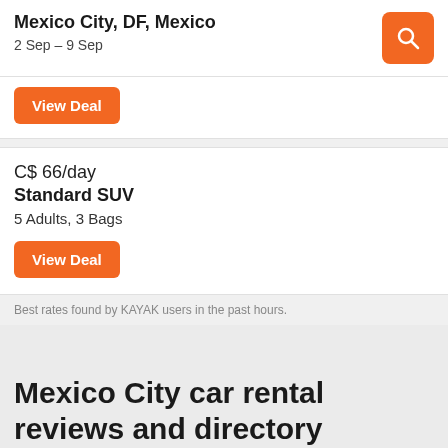Mexico City, DF, Mexico
2 Sep – 9 Sep
View Deal
C$ 66/day
Standard SUV
5 Adults, 3 Bags
View Deal
Best rates found by KAYAK users in the past hours.
Mexico City car rental reviews and directory